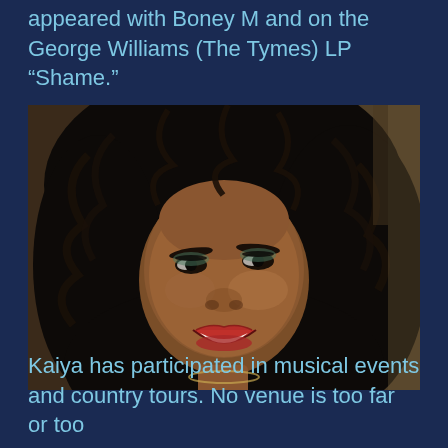appeared with Boney M and on the George Williams (The Tymes) LP "Shame."
[Figure (photo): Portrait photo of a smiling Black woman with long curly dark hair, wearing makeup with bold eye shadow and red lipstick, and a necklace. She is looking upward and to the side with a bright smile.]
Kaiya has participated in musical events and country tours. No venue is too far or too